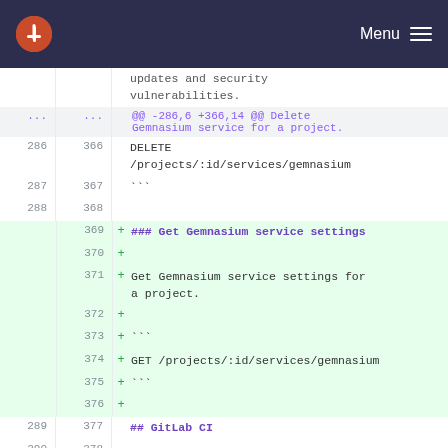Menu
updates and security vulnerabilities.
@@ -286,6 +366,14 @@ Delete Gemnasium service for a project.
286 366 DELETE /projects/:id/services/gemnasium
287 367 ```
288 368
+ 369 ### Get Gemnasium service settings
+ 370
+ 371 Get Gemnasium service settings for a project.
+ 372
+ 373 ```
+ 374 GET /projects/:id/services/gemnasium
+ 375 ```
+ 376
289 377 ## GitLab CI
290 378
291 379 Continuous integration server from GitLab